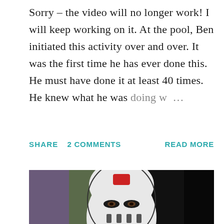Sorry – the video will no longer work! I will keep working on it. At the pool, Ben initiated this activity over and over. It was the first time he has ever done this. He must have done it at least 40 times. He knew what he was doing w… …
SHARE   2 COMMENTS   READ MORE
[Figure (photo): A child wearing a white and red hockey goalie mask, peeking through the eye holes. Dark background with some colorful items visible on the left side.]